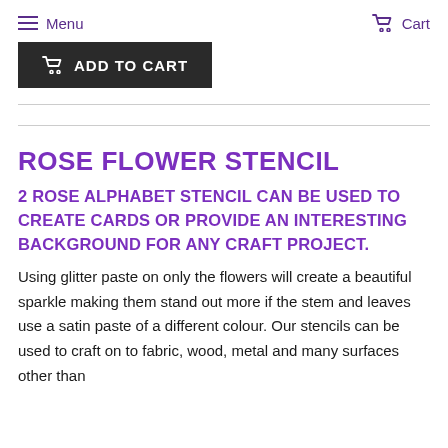Menu  Cart
ADD TO CART
ROSE FLOWER STENCIL
2 ROSE ALPHABET STENCIL CAN BE USED TO CREATE CARDS OR PROVIDE AN INTERESTING BACKGROUND FOR ANY CRAFT PROJECT.
Using glitter paste on only the flowers will create a beautiful sparkle making them stand out more if the stem and leaves use a satin paste of a different colour. Our stencils can be used to craft on to fabric, wood, metal and many surfaces other than